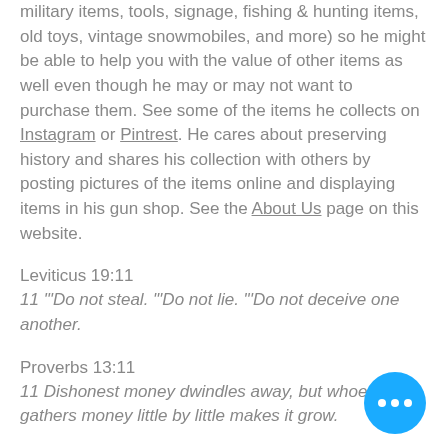military items, tools, signage, fishing & hunting items, old toys, vintage snowmobiles, and more) so he might be able to help you with the value of other items as well even though he may or may not want to purchase them. See some of the items he collects on Instagram or Pintrest. He cares about preserving history and shares his collection with others by posting pictures of the items online and displaying items in his gun shop. See the About Us page on this website.
Leviticus 19:11
11 "Do not steal. "Do not lie. "Do not deceive one another.
Proverbs 13:11
11 Dishonest money dwindles away, but whoever gathers money little by little makes it grow.
Proverbs 10:9
9  Whoever walks in integrity walks securely, but whoever takes crooked...